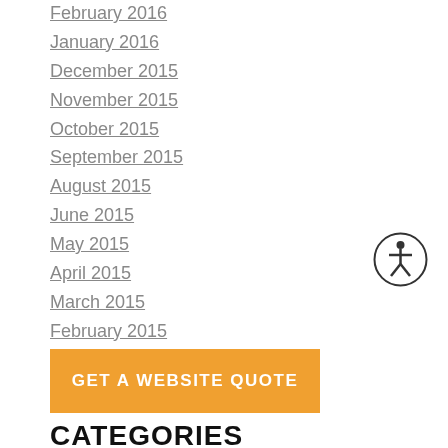February 2016
January 2016
December 2015
November 2015
October 2015
September 2015
August 2015
June 2015
May 2015
April 2015
March 2015
February 2015
January 2015
[Figure (illustration): Accessibility icon — circle with stick figure person inside]
GET A WEBSITE QUOTE
CATEGORIES
All